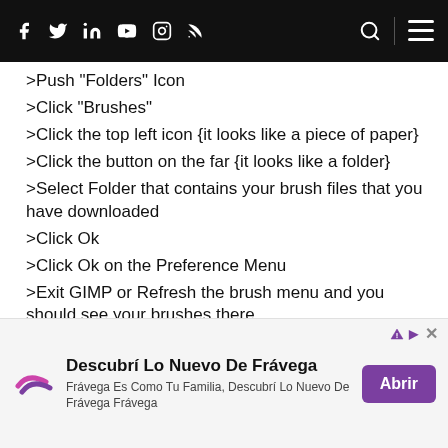Social nav bar with icons: Facebook, Twitter, LinkedIn, YouTube, Instagram, RSS, Search, Menu
>Push "Folders" Icon
>Click "Brushes"
>Click the top left icon {it looks like a piece of paper}
>Click the button on the far {it looks like a folder}
>Select Folder that contains your brush files that you have downloaded
>Click Ok
>Click Ok on the Preference Menu
>Exit GIMP or Refresh the brush menu and you should see your brushes there
[Figure (infographic): Advertisement banner for Frávega: logo with purple arrow, title 'Descubrí Lo Nuevo De Frávega', subtitle 'Frávega Es Como Tu Familia, Descubrí Lo Nuevo De Frávega Frávega', purple 'Abrir' button, with ad corner icons (triangle and X).]